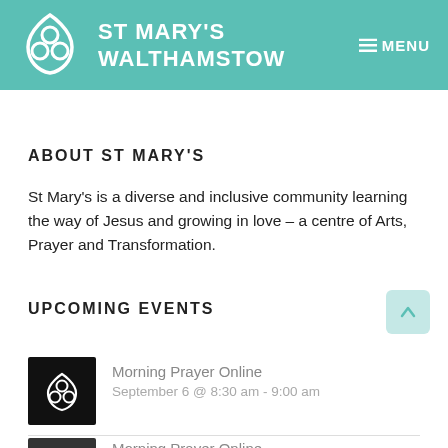ST MARY'S WALTHAMSTOW — MENU
ABOUT ST MARY'S
St Mary's is a diverse and inclusive community learning the way of Jesus and growing in love – a centre of Arts, Prayer and Transformation.
UPCOMING EVENTS
[Figure (logo): St Mary's Walthamstow logo — white trefoil/shield symbol on teal background, and small black square event thumbnail with white logo]
Morning Prayer Online
September 6 @ 8:30 am - 9:00 am
Morning Prayer Online